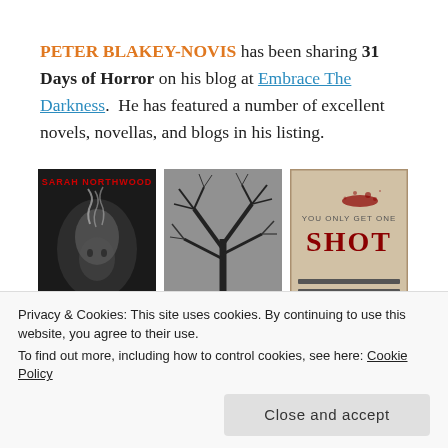PETER BLAKEY-NOVIS has been sharing 31 Days of Horror on his blog at Embrace The Darkness. He has featured a number of excellent novels, novellas, and blogs in his listing.
[Figure (photo): Three book/horror images side by side: 1) Sarah Northwood book cover with a ghostly face and red text, 2) Dark tree branches against grey sky, 3) 'You Only Get One SHOT' text on aged paper with blood splatter]
Privacy & Cookies: This site uses cookies. By continuing to use this website, you agree to their use.
To find out more, including how to control cookies, see here: Cookie Policy